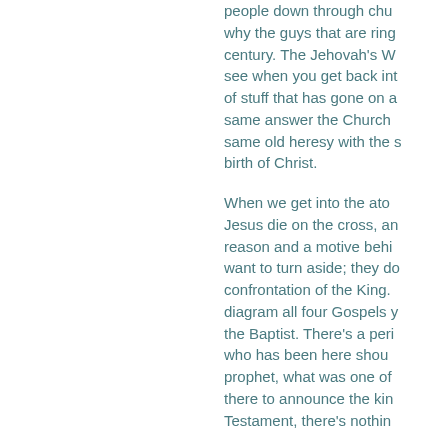people down through chu... why the guys that are ring... century. The Jehovah's W... see when you get back int... of stuff that has gone on a... same answer the Church ... same old heresy with the s... birth of Christ. When we get into the ato... Jesus die on the cross, an... reason and a motive behi... want to turn aside; they do... confrontation of the King. ... diagram all four Gospels y... the Baptist. There's a peri... who has been here shou... prophet, what was one of ... there to announce the kin... Testament, there's nothin...